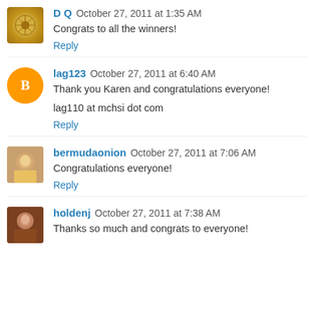D Q  October 27, 2011 at 1:35 AM
Congrats to all the winners!
Reply
lag123  October 27, 2011 at 6:40 AM
Thank you Karen and congratulations everyone!

lag110 at mchsi dot com
Reply
bermudaonion  October 27, 2011 at 7:06 AM
Congratulations everyone!
Reply
holdenj  October 27, 2011 at 7:38 AM
Thanks so much and congrats to everyone!